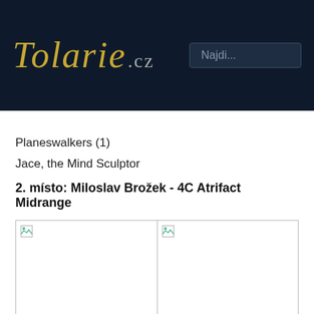Tolarie.cz — Najdi...
Planeswalkers (1)
Jace, the Mind Sculptor
2. místo: Miloslav Brožek - 4C Atrifact Midrange
[Figure (photo): Two image placeholders side by side, images failed to load (broken image icons shown)]